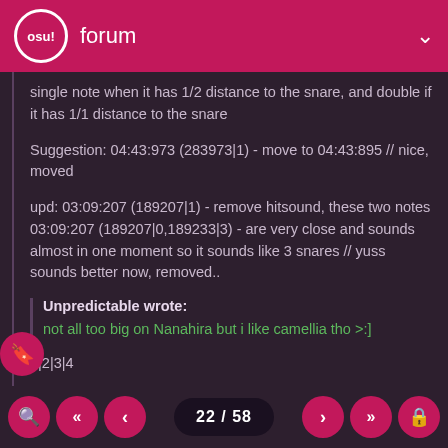osu! forum
single note when it has 1/2 distance to the snare, and double if it has 1/1 distance to the snare
Suggestion: 04:43:973 (283973|1) - move to 04:43:895 // nice, moved
upd: 03:09:207 (189207|1) - remove hitsound, these two notes 03:09:207 (189207|0,189233|3) - are very close and sounds almost in one moment so it sounds like 3 snares // yuss sounds better now, removed..
Unpredictable wrote:
not all too big on Nanahira but i like camellia tho >:]
1|2|3|4
> Flowers
Honestly, this map is really good. I seriously like it a lot. It
22 / 58